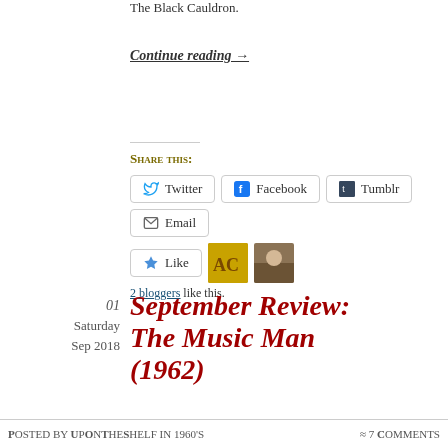The Black Cauldron.
Continue reading →
Share this:
Twitter  Facebook  Tumblr  Email
Like
2 bloggers like this.
01
Saturday
Sep 2018
September Review: The Music Man (1962)
Posted by UpOnTheShelf in 1960's  ≈ 7 Comments